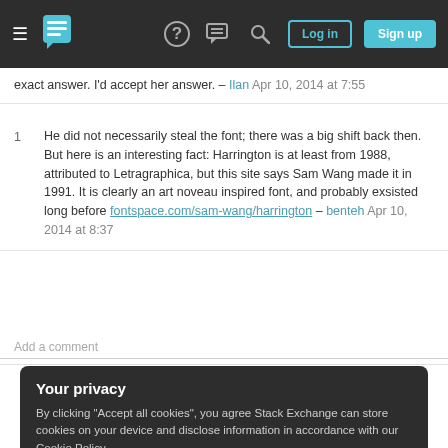Stack Exchange navigation bar with Log in and Sign up buttons
exact answer. I'd accept her answer. – Ilan Apr 10, 2014 at 7:55
1  He did not necessarily steal the font; there was a big shift back then. But here is an interesting fact: Harrington is at least from 1988, attributed to Letragraphica, but this site says Sam Wang made it in 1991. It is clearly an art noveau inspired font, and probably exsisted long before fontspace.com/sam-wang/harrington – benteh Apr 10, 2014 at 8:37
Add a comment
Your privacy
By clicking "Accept all cookies", you agree Stack Exchange can store cookies on your device and disclose information in accordance with our Cookie Policy.
Accept all cookies
Customize settings
post.